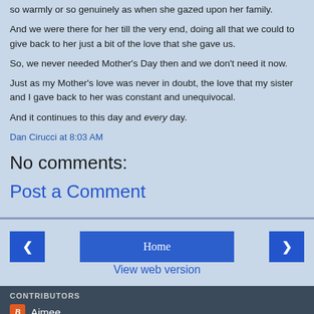so warmly or so genuinely as when she gazed upon her family.
And we were there for her till the very end, doing all that we could to give back to her just a bit of the love that she gave us.
So, we never needed Mother's Day then and we don't need it now.
Just as my Mother's love was never in doubt, the love that my sister and I gave back to her was constant and unequivocal.
And it continues to this day and every day.
Dan Cirucci at 8:03 AM
No comments:
Post a Comment
Home
View web version
CONTRIBUTORS
Aimee